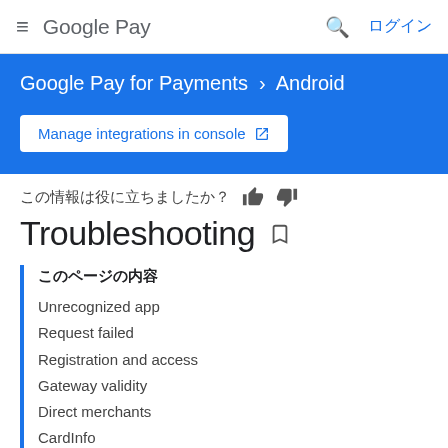≡  Google Pay   🔍  ログイン
Google Pay for Payments › Android
Manage integrations in console ↗
この情報は役に立ちましたか？ 👍 👎
Troubleshooting
このページの内容
Unrecognized app
Request failed
Registration and access
Gateway validity
Direct merchants
CardInfo